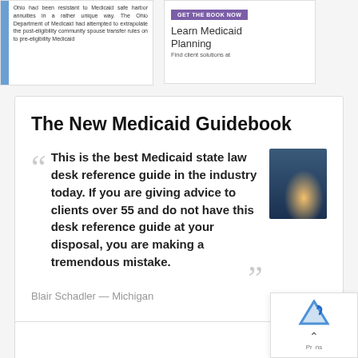[Figure (screenshot): Top left card with blue sidebar and small text about Ohio Medicaid safe harbor annuities]
[Figure (screenshot): Top right card with purple GET THE BOOK NOW button, Learn Medicaid Planning heading, and Find client solutions at text]
The New Medicaid Guidebook
This is the best Medicaid state law desk reference guide in the industry today. If you are giving advice to clients over 55 and do not have this desk reference guide at your disposal, you are making a tremendous mistake.
Blair Schadler — Michigan
[Figure (photo): Book cover image for The New Medicaid Guidebook showing lighthouse scene]
[Figure (screenshot): Bottom partial card visible]